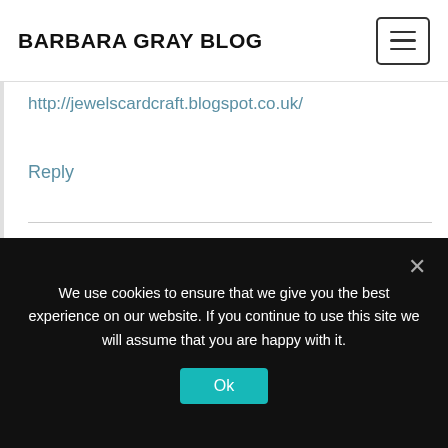BARBARA GRAY BLOG
http://jewelscardcraft.blogspot.co.uk/
Reply
Kim Shaw says:
28th September 2014 at 3:11 pm
Good Afternoon Barbara…
Where's the sunshine gone!!!
We use cookies to ensure that we give you the best experience on our website. If you continue to use this site we will assume that you are happy with it.